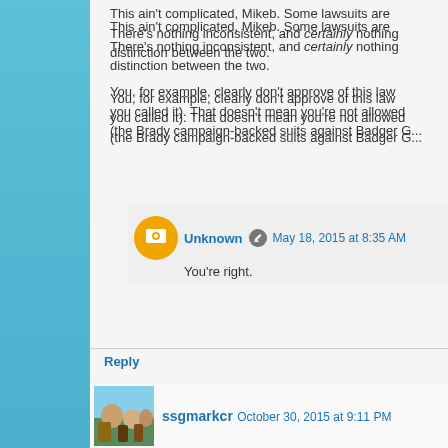This ain't complicated, Mikeb. Some lawsuits are... There's nothing inconsistent, and certainly nothing... distinction between the two.

You, for example, clearly don't approve of this law... you called it). That doesn't mean you're not allowed... (the Brady campaign-backed suits against Badger G...
Unknown   May 18, 2015 at 8:35 AM
You're right.
Reply
ssgmarkcr   October 30, 2015 at 9:11 PM
Here is an interesting development.
"You might not remember the name Jared Marcum, but you... found himself in as a West Virginia eight-grader who wa... wearing an NRA tee shirt with a rifle pictured on it.